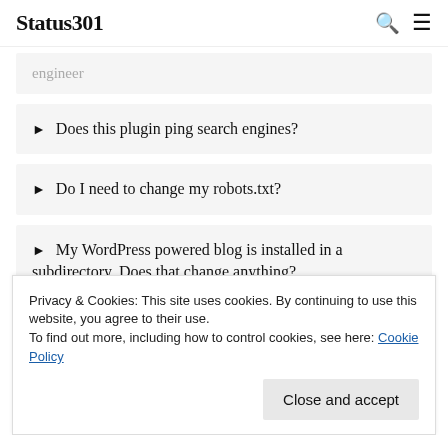Status301
engineer
Does this plugin ping search engines?
Do I need to change my robots.txt?
My WordPress powered blog is installed in a subdirectory. Does that change anything?
Privacy & Cookies: This site uses cookies. By continuing to use this website, you agree to their use.
To find out more, including how to control cookies, see here: Cookie Policy
I see no sitemap.xml file in my site root!